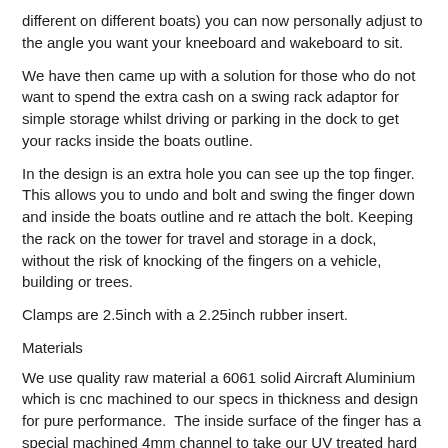different on different boats) you can now personally adjust to the angle you want your kneeboard and wakeboard to sit.
We have then came up with a solution for those who do not want to spend the extra cash on a swing rack adaptor for simple storage whilst driving or parking in the dock to get your racks inside the boats outline.
In the design is an extra hole you can see up the top finger. This allows you to undo and bolt and swing the finger down and inside the boats outline and re attach the bolt. Keeping the rack on the tower for travel and storage in a dock, without the risk of knocking of the fingers on a vehicle, building or trees.
Clamps are 2.5inch with a 2.25inch rubber insert.
Materials
We use quality raw material a 6061 solid Aircraft Aluminium which is cnc machined to our specs in thickness and design for pure performance.  The inside surface of the finger has a special machined 4mm channel to take our UV treated hard rubber bumper which is a mushroom shape to look after your boards. All the hardware is stainless steel for the marine environment. We include a marine grade bungee cord which is already installed for your use.